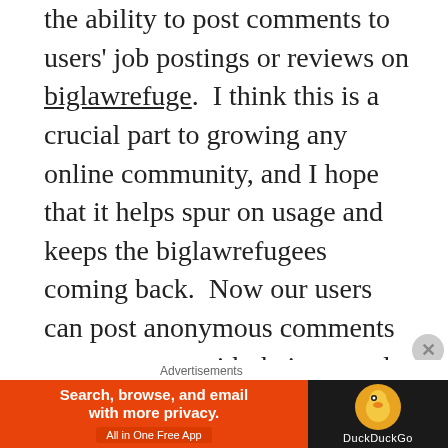the ability to post comments to users' job postings or reviews on biglawrefuge.  I think this is a crucial part to growing any online community, and I hope that it helps spur on usage and keeps the biglawrefugees coming back.  Now our users can post anonymous comments or comments with their normal username.
Communities that are user-supported have always fascinated me.  They're like living organisms that grow and become more
[Figure (other): DuckDuckGo advertisement banner: 'Search, browse, and email with more privacy. All in One Free App' with DuckDuckGo logo on dark background.]